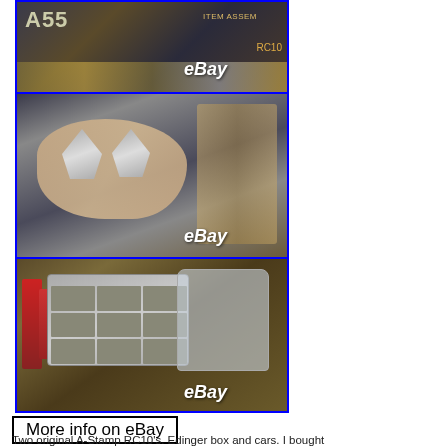[Figure (photo): eBay listing photo collage showing three product images: top image shows an RC car box/parts with 'eBay' watermark, middle image shows a hand holding two silver A-arm suspension parts with 'eBay' watermark, bottom image shows an organizer case with small RC parts and bags of parts with 'eBay' watermark]
More info on eBay
Two original A-Stamp RC10's. Edinger box and cars. I bought